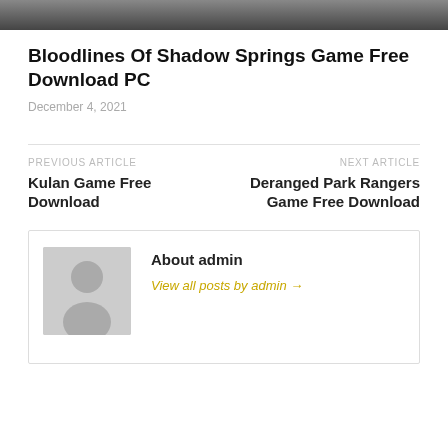[Figure (photo): Partial image visible at top of page showing people]
Bloodlines Of Shadow Springs Game Free Download PC
December 4, 2021
PREVIOUS ARTICLE
Kulan Game Free Download
NEXT ARTICLE
Deranged Park Rangers Game Free Download
About admin
View all posts by admin →